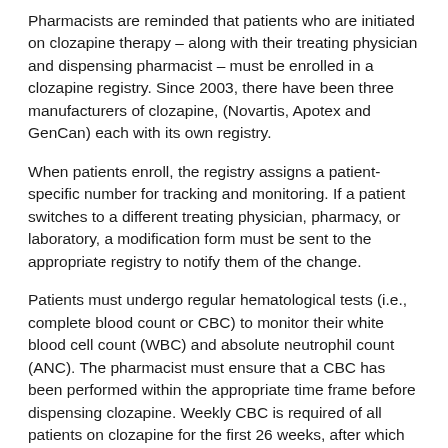Pharmacists are reminded that patients who are initiated on clozapine therapy – along with their treating physician and dispensing pharmacist – must be enrolled in a clozapine registry. Since 2003, there have been three manufacturers of clozapine, (Novartis, Apotex and GenCan) each with its own registry.
When patients enroll, the registry assigns a patient-specific number for tracking and monitoring. If a patient switches to a different treating physician, pharmacy, or laboratory, a modification form must be sent to the appropriate registry to notify them of the change.
Patients must undergo regular hematological tests (i.e., complete blood count or CBC) to monitor their white blood cell count (WBC) and absolute neutrophil count (ANC). The pharmacist must ensure that a CBC has been performed within the appropriate time frame before dispensing clozapine. Weekly CBC is required of all patients on clozapine for the first 26 weeks, after which the frequency may be reduced to every two weeks.